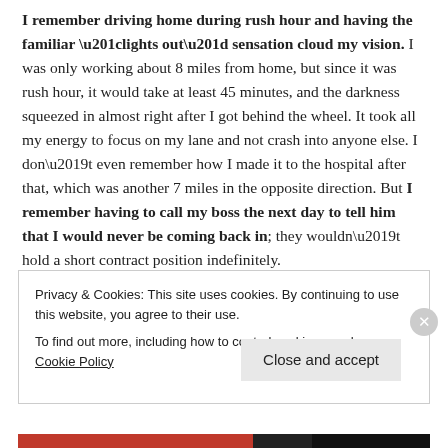I remember driving home during rush hour and having the familiar “lights out” sensation cloud my vision. I was only working about 8 miles from home, but since it was rush hour, it would take at least 45 minutes, and the darkness squeezed in almost right after I got behind the wheel. It took all my energy to focus on my lane and not crash into anyone else. I don’t even remember how I made it to the hospital after that, which was another 7 miles in the opposite direction. But I remember having to call my boss the next day to tell him that I would never be coming back in; they wouldn’t hold a short contract position indefinitely.
Privacy & Cookies: This site uses cookies. By continuing to use this website, you agree to their use.
To find out more, including how to control cookies, see here: Cookie Policy